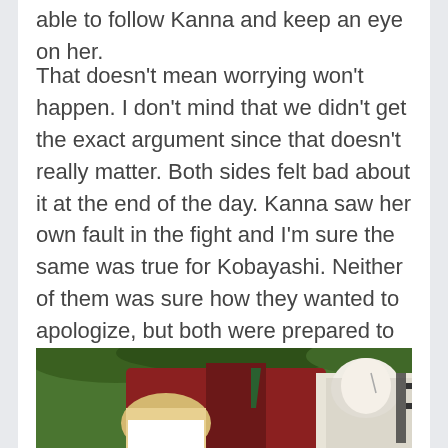able to follow Kanna and keep an eye on her.
That doesn't mean worrying won't happen. I don't mind that we didn't get the exact argument since that doesn't really matter. Both sides felt bad about it at the end of the day. Kanna saw her own fault in the fight and I'm sure the same was true for Kobayashi. Neither of them was sure how they wanted to apologize, but both were prepared to do it. Even the apology part wasn't needed. We could get how that was going to play out just fine.
[Figure (photo): Anime screenshot showing characters from Miss Kobayashi's Dragon Maid, featuring colorful anime art with a character in dark outfit on right side and lighter character on left, with green foliage in background.]